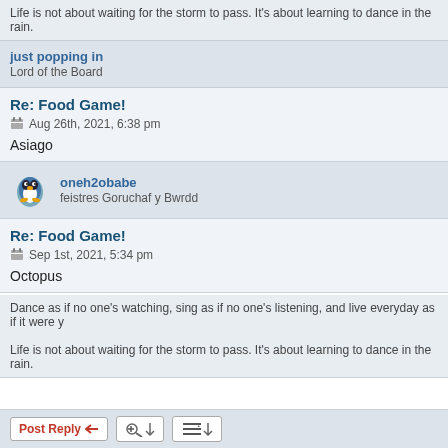Life is not about waiting for the storm to pass. It's about learning to dance in the rain.
just popping in
Lord of the Board
Re: Food Game!
Aug 26th, 2021, 6:38 pm
Asiago
oneh2obabe
feistres Goruchaf y Bwrdd
Re: Food Game!
Sep 1st, 2021, 5:34 pm
Octopus
Dance as if no one's watching, sing as if no one's listening, and live everyday as if it were y
Life is not about waiting for the storm to pass. It's about learning to dance in the rain.
Post Reply